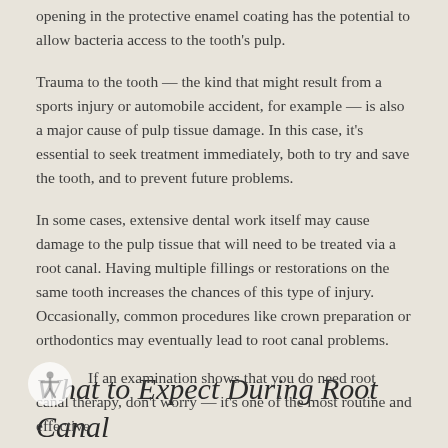opening in the protective enamel coating has the potential to allow bacteria access to the tooth's pulp.
Trauma to the tooth — the kind that might result from a sports injury or automobile accident, for example — is also a major cause of pulp tissue damage. In this case, it's essential to seek treatment immediately, both to try and save the tooth, and to prevent future problems.
In some cases, extensive dental work itself may cause damage to the pulp tissue that will need to be treated via a root canal. Having multiple fillings or restorations on the same tooth increases the chances of this type of injury. Occasionally, common procedures like crown preparation or orthodontics may eventually lead to root canal problems.
What to Expect During Root Canal Therapy
If an examination shows that you do need root canal therapy, don't worry — it's one of the most routine and effective